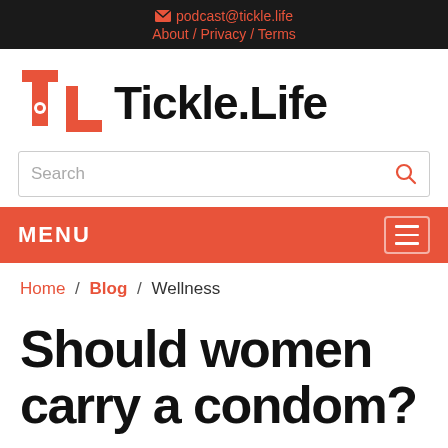✉ podcast@tickle.life  About / Privacy / Terms
[Figure (logo): Tickle.Life logo: red stylized TL icon with a pin/circle symbol, next to bold black text 'Tickle.Life']
Search
MENU
Home / Blog / Wellness
Should women carry a condom?